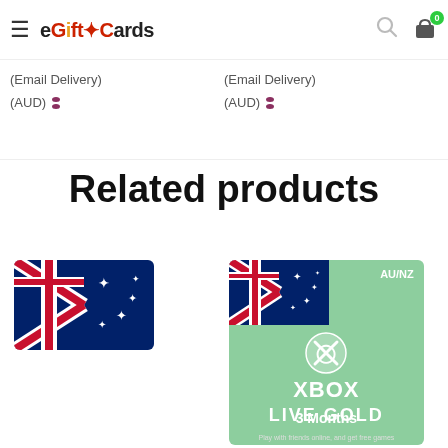eGiftCards - (Email Delivery) (AUD) - Related products
(Email Delivery)
(AUD)
(Email Delivery)
(AUD)
Related products
[Figure (photo): New Zealand flag thumbnail (blue with Union Jack and southern cross stars)]
[Figure (photo): Xbox Live Gold 3 Months AU/NZ card overlaid on New Zealand flag — green card with Xbox sphere logo, text: XBOX LIVE GOLD, 3 Months]